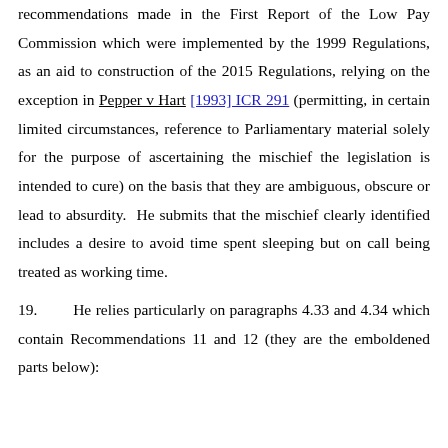recommendations made in the First Report of the Low Pay Commission which were implemented by the 1999 Regulations, as an aid to construction of the 2015 Regulations, relying on the exception in Pepper v Hart [1993] ICR 291 (permitting, in certain limited circumstances, reference to Parliamentary material solely for the purpose of ascertaining the mischief the legislation is intended to cure) on the basis that they are ambiguous, obscure or lead to absurdity. He submits that the mischief clearly identified includes a desire to avoid time spent sleeping but on call being treated as working time.
19.      He relies particularly on paragraphs 4.33 and 4.34 which contain Recommendations 11 and 12 (they are the emboldened parts below):